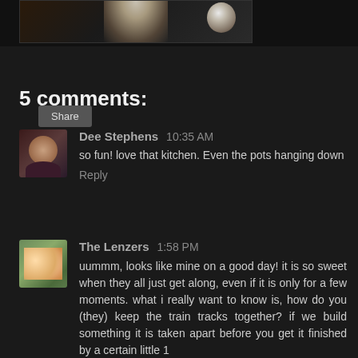[Figure (photo): Partial photo strip at top of page showing dark image with a glowing white/cream colored object in center and a spherical object on the right]
Share
5 comments:
Dee Stephens 10:35 AM
so fun! love that kitchen. Even the pots hanging down
Reply
The Lenzers 1:58 PM
uummm, looks like mine on a good day! it is so sweet when they all just get along, even if it is only for a few moments. what i really want to know is, how do you (they) keep the train tracks together? if we build something it is taken apart before you get it finished by a certain little 1